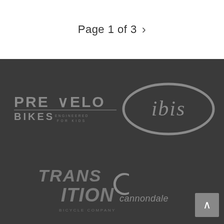Page 1 of 3 >
[Figure (logo): Prevelo Bikes Engineered For Kids logo in gray on dark background]
[Figure (logo): Ibis Cycles logo - oval shape with 'ibis' text in italic, gray on dark background]
[Figure (logo): Transition Bicycle Company logo in gray italic text on dark background, partially cut off at bottom]
[Figure (logo): Cannondale logo with stylized C icon and cannondale wordmark in gray on dark background]